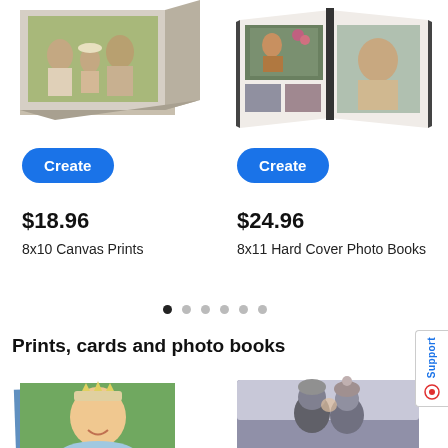[Figure (photo): Canvas print product photo showing family/people on grass, displayed as a canvas box]
[Figure (photo): Open hard cover photo book showing outdoor family photos]
Create
Create
$18.96
8x10 Canvas Prints
$24.96
8x11 Hard Cover Photo Books
[Figure (other): Carousel pagination dots: 6 dots, first filled dark, rest light gray]
Prints, cards and photo books
[Figure (photo): Stack of prints showing a girl with a tiara smiling outdoors]
[Figure (photo): Hard cover photo book showing a couple in winter hats]
[Figure (other): Support tab on the right edge with blue 'Support' text and red chat icon]